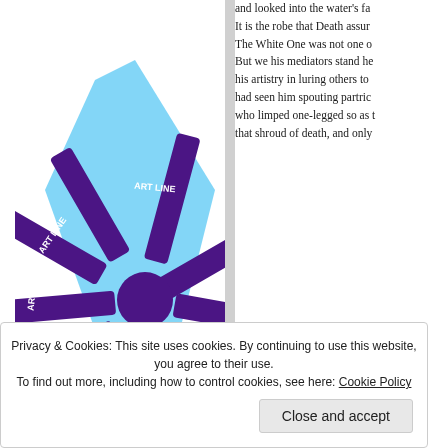[Figure (illustration): ART LINE logo: a starburst/asterisk shape in dark purple with multiple arms radiating from center, overlaid on a light blue diamond/rotated square shape. Multiple 'ART LINE' text labels appear on the arms at various angles, white text on dark purple.]
and looked into the water's fa It is the robe that Death assur The White One was not one o But we his mediators stand h his artistry in luring others t had seen him spouting partr who limped one-legged so as that shroud of death, and onl
Privacy & Cookies: This site uses cookies. By continuing to use this website, you agree to their use. To find out more, including how to control cookies, see here: Cookie Policy
Close and accept